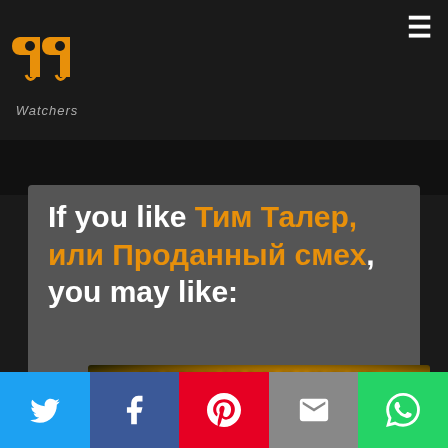PP Watchers logo and hamburger menu
If you like Тим Талер, или Проданный смех, you may like:
[Figure (illustration): Anime screenshot with text 'SEE THROUGH THE EYES OF A DEATH GOD!' overlaid, showing a bright radial burst with an anime character]
Social share buttons: Twitter, Facebook, Pinterest, Email, WhatsApp